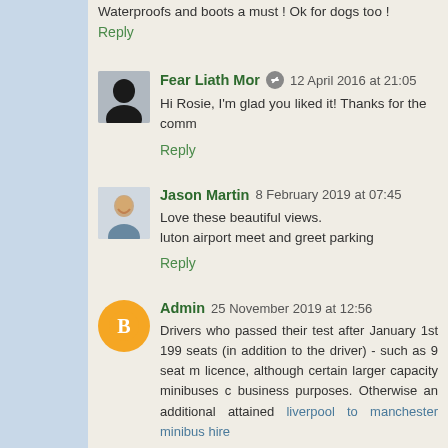Waterproofs and boots a must ! Ok for dogs too !
Reply
Fear Liath Mor  12 April 2016 at 21:05
Hi Rosie, I'm glad you liked it! Thanks for the comm...
Reply
Jason Martin  8 February 2019 at 07:45
Love these beautiful views.
luton airport meet and greet parking
Reply
Admin  25 November 2019 at 12:56
Drivers who passed their test after January 1st 199... seats (in addition to the driver) - such as 9 seat m... licence, although certain larger capacity minibuses c... business purposes. Otherwise an additional... attained liverpool to manchester minibus hire